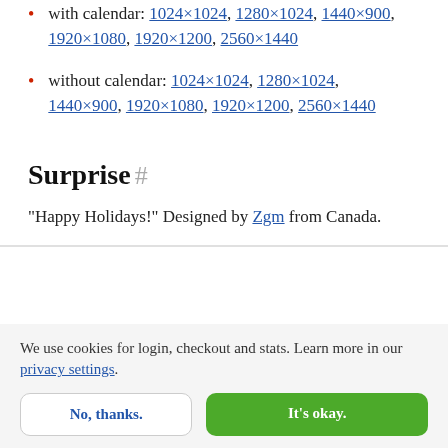with calendar: 1024×1024, 1280×1024, 1440×900, 1920×1080, 1920×1200, 2560×1440
without calendar: 1024×1024, 1280×1024, 1440×900, 1920×1080, 1920×1200, 2560×1440
Surprise #
"Happy Holidays!" Designed by Zgm from Canada.
We use cookies for login, checkout and stats. Learn more in our privacy settings.